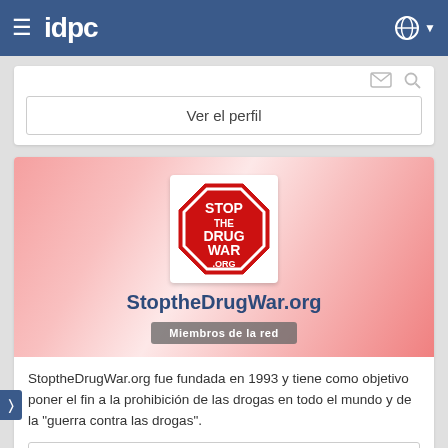≡  idpc  🌐 ▾
[Figure (logo): IDPC website screenshot showing navigation bar with hamburger menu, 'idpc' brand logo, and globe icon]
Ver el perfil
[Figure (photo): StoptheDrugWar.org profile card with red/pink gradient banner, octagonal stop-sign logo reading 'STOP THE DRUG WAR .ORG', organization name 'StoptheDrugWar.org' in dark blue bold, and 'Miembros de la red' grey badge]
StoptheDrugWar.org fue fundada en 1993 y tiene como objetivo poner el fin a la prohibición de las drogas en todo el mundo y de la "guerra contra las drogas".
Ver el perfil